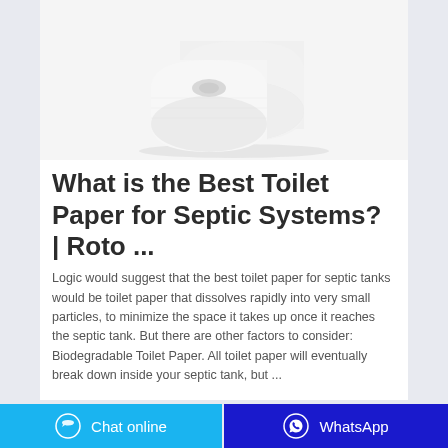[Figure (photo): Two rolls of white toilet paper on a white background, stacked/overlapping]
What is the Best Toilet Paper for Septic Systems? | Roto ...
Logic would suggest that the best toilet paper for septic tanks would be toilet paper that dissolves rapidly into very small particles, to minimize the space it takes up once it reaches the septic tank. But there are other factors to consider: Biodegradable Toilet Paper. All toilet paper will eventually break down inside your septic tank, but ...
Chat online   WhatsApp